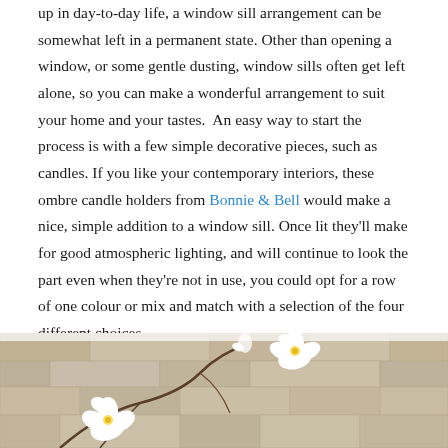up in day-to-day life, a window sill arrangement can be somewhat left in a permanent state. Other than opening a window, or some gentle dusting, window sills often get left alone, so you can make a wonderful arrangement to suit your home and your tastes.  An easy way to start the process is with a few simple decorative pieces, such as candles. If you like your contemporary interiors, these ombre candle holders from Bonnie & Bell would make a nice, simple addition to a window sill. Once lit they'll make for good atmospheric lighting, and will continue to look the part even when they're not in use, you could opt for a row of one colour or mix and match with a selection of the four different choices.
[Figure (photo): Photo of white orchid flowers against a textured stone/brick wall background in beige/tan tones]